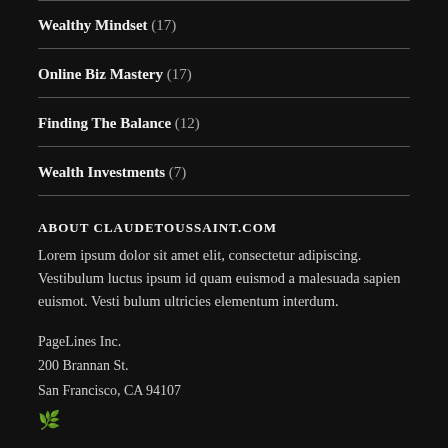Wealthy Mindset (17)
Online Biz Mastery (17)
Finding The Balance (12)
Wealth Investments (7)
ABOUT CLAUDETOUSSAINT.COM
Lorem ipsum dolor sit amet elit, consectetur adipiscing. Vestibulum luctus ipsum id quam euismod a malesuada sapien euismot. Vesti bulum ultricies elementum interdum.
PageLines Inc.
200 Brannan St.
San Francisco, CA 94107